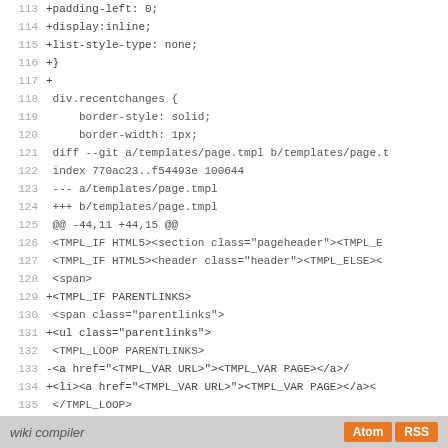Code diff showing lines 113-141 of CSS and template file changes
wiki compiler  Atom  RSS